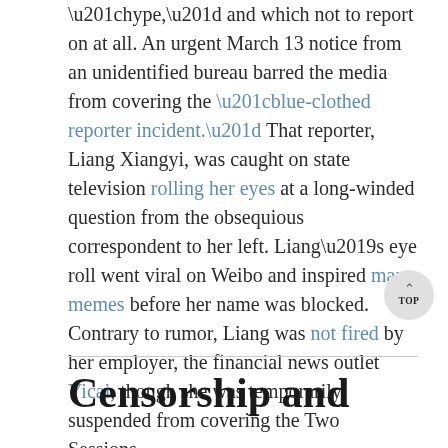“hype,” and which not to report on at all. An urgent March 13 notice from an unidentified bureau barred the media from covering the “blue-clothed reporter incident.” That reporter, Liang Xiangyi, was caught on state television rolling her eyes at a long-winded question from the obsequious correspondent to her left. Liang’s eye roll went viral on Weibo and inspired many memes before her name was blocked. Contrary to rumor, Liang was not fired by her employer, the financial news outlet Yicai, though she was temporarily suspended from covering the Two Sessions.
Censorship and